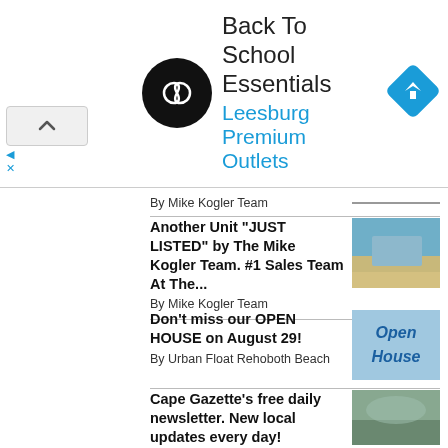[Figure (infographic): Advertisement banner for Back To School Essentials at Leesburg Premium Outlets, with a black circular logo with white infinity-like arrows, blue navigation diamond icon, and a collapse/close button on the left.]
By Mike Kogler Team
Another Unit “JUST LISTED” by The Mike Kogler Team. #1 Sales Team At The...
By Mike Kogler Team
Don’t miss our OPEN HOUSE on August 29!
By Urban Float Rehoboth Beach
Cape Gazette’s free daily newsletter. New local updates every day!
By Cape Gazette
Rehoboth Beach Home For Sale with Spectacular Location and Views!
By Bill Cullin
LOT 131 TARPON DRIVE-WOLFE POINTE-LEWES